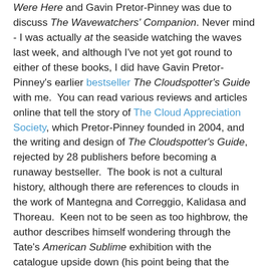Were Here and Gavin Pretor-Pinney was due to discuss The Wavewatchers' Companion. Never mind - I was actually at the seaside watching the waves last week, and although I've not yet got round to either of these books, I did have Gavin Pretor-Pinney's earlier bestseller The Cloudspotter's Guide with me.  You can read various reviews and articles online that tell the story of The Cloud Appreciation Society, which Pretor-Pinney founded in 2004, and the writing and design of The Cloudspotter's Guide, rejected by 28 publishers before becoming a runaway bestseller.  The book is not a cultural history, although there are references to clouds in the work of Mantegna and Correggio, Kalidasa and Thoreau.  Keen not to be seen as too highbrow, the author describes himself wondering through the Tate's American Sublime exhibition with the catalogue upside down (his point being that the skyscapes in Bierstadt and Church are as important as the landscapes).  His sense of humour did grow on me - it is hard to resist the comparison of strato-cumulus, 'always in transition', with 'the pop singer Cher at the height of her costume-changing stage routines'.  One species of this cloud, the Morning Glory, is likened to Cher 'in the brass armour bikini and gold Viking helmet she wore on the sleeve